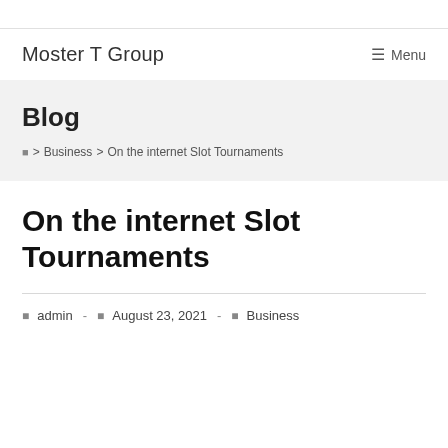Moster T Group
Menu
Blog
🏠 > Business > On the internet Slot Tournaments
On the internet Slot Tournaments
admin  -  August 23, 2021  -  Business